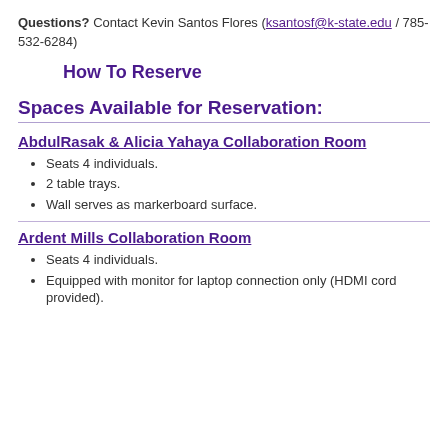Questions? Contact Kevin Santos Flores (ksantosf@k-state.edu / 785-532-6284)
How To Reserve
Spaces Available for Reservation:
AbdulRasak & Alicia Yahaya Collaboration Room
Seats 4 individuals.
2 table trays.
Wall serves as markerboard surface.
Ardent Mills Collaboration Room
Seats 4 individuals.
Equipped with monitor for laptop connection only (HDMI cord provided).